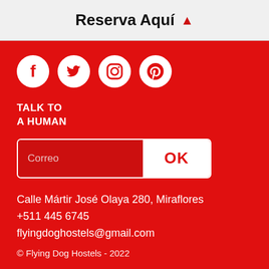Reserva Aquí ▲
[Figure (illustration): Four white social media icons on red background: Facebook, Twitter, Instagram, Pinterest]
TALK TO
A HUMAN
Correo | OK
Calle Mártir José Olaya 280, Miraflores
+511 445 6745
flyingdoghostels@gmail.com
© Flying Dog Hostels - 2022